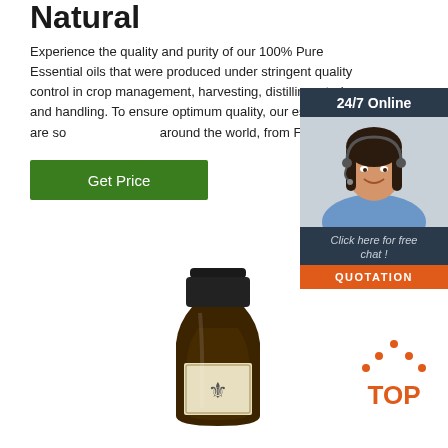Natural
Experience the quality and purity of our 100% Pure Essential oils that were produced under stringent quality control in crop management, harvesting, distilling, storing and handling. To ensure optimum quality, our essential oils are so... around the world, from France …
Get Price
[Figure (illustration): Customer support widget with dark blue background. Header reads '24/7 Online'. Photo of smiling woman with headset. Text 'Click here for free chat!' and orange button 'QUOTATION'.]
[Figure (photo): Dark amber glass essential oil bottle with black dropper cap and cream label featuring a fleur-de-lis symbol.]
[Figure (logo): Orange and dark 'TOP' badge with dot triangle above the text.]